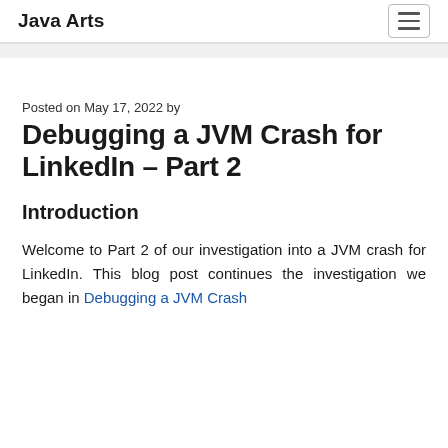Java Arts
Posted on May 17, 2022 by
Debugging a JVM Crash for LinkedIn – Part 2
Introduction
Welcome to Part 2 of our investigation into a JVM crash for LinkedIn. This blog post continues the investigation we began in Debugging a JVM Crash